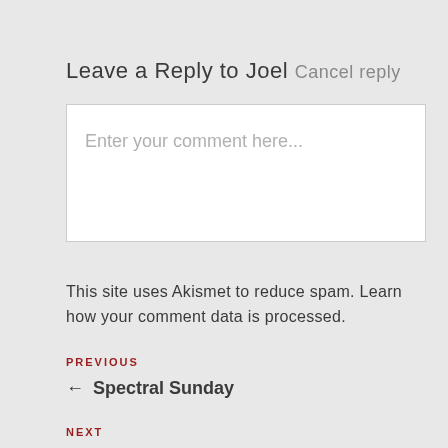Leave a Reply to Joel Cancel reply
Enter your comment here...
This site uses Akismet to reduce spam. Learn how your comment data is processed.
PREVIOUS
← Spectral Sunday
NEXT